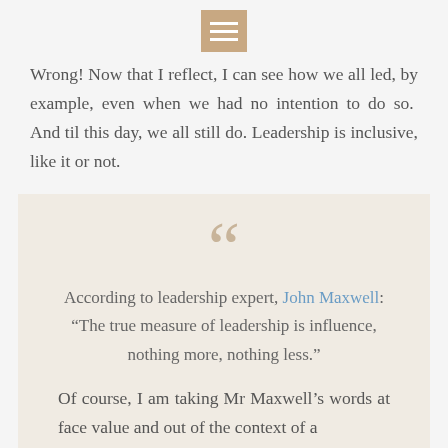[menu icon]
Wrong! Now that I reflect, I can see how we all led, by example, even when we had no intention to do so.  And til this day, we all still do. Leadership is inclusive, like it or not.
According to leadership expert, John Maxwell: “The true measure of leadership is influence, nothing more, nothing less.”
Of course, I am taking Mr Maxwell’s words at face value and out of the context of a